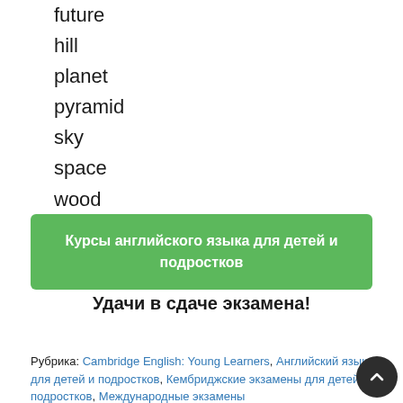future
hill
planet
pyramid
sky
space
wood
Курсы английского языка для детей и подростков
Удачи в сдаче экзамена!
Рубрика: Cambridge English: Young Learners, Английский языка для детей и подростков, Кембриджские экзамены для детей и подростков, Международные экзамены